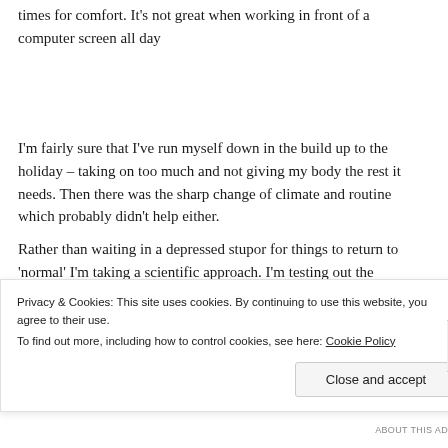times for comfort. It's not great when working in front of a computer screen all day
I'm fairly sure that I've run myself down in the build up to the holiday – taking on too much and not giving my body the rest it needs. Then there was the sharp change of climate and routine which probably didn't help either.
Rather than waiting in a depressed stupor for things to return to 'normal' I'm taking a scientific approach. I'm testing out the
Privacy & Cookies: This site uses cookies. By continuing to use this website, you agree to their use.
To find out more, including how to control cookies, see here: Cookie Policy
Close and accept
ABOUT THIS AD